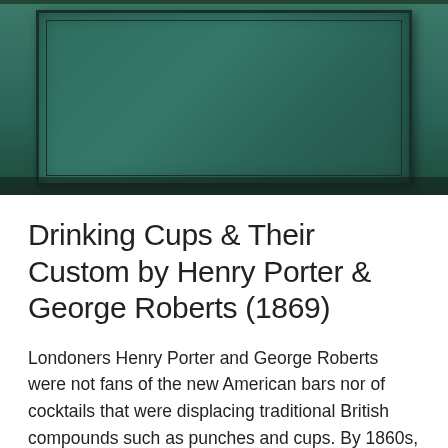[Figure (photo): Close-up photograph of a dark teal/green book cover with decorative border inset, showing aged texture and slight scratches on the surface.]
Drinking Cups & Their Custom by Henry Porter & George Roberts (1869)
Londoners Henry Porter and George Roberts were not fans of the new American bars nor of cocktails that were displacing traditional British compounds such as punches and cups. By 1860s, the colonial intrusion into British drinking habits insinuated by Reform Club chef Alexis Benoit Soyer, Leo Engels at the Criterion, the Bowling Alley Bar at the Cremorne [...]